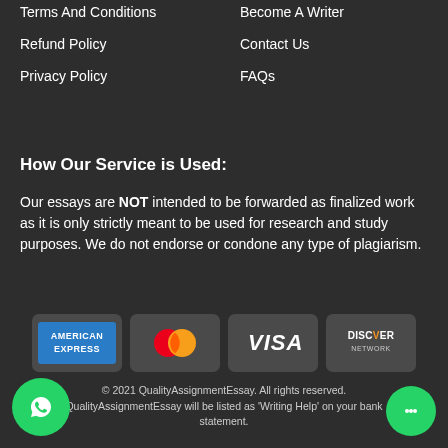Terms And Conditions
Become A Writer
Refund Policy
Contact Us
Privacy Policy
FAQs
How Our Service is Used:
Our essays are NOT intended to be forwarded as finalized work as it is only strictly meant to be used for research and study purposes. We do not endorse or condone any type of plagiarism.
[Figure (logo): Payment method logos: American Express, Mastercard, Visa, Discover Network]
© 2021 QualityAssignmentEssay. All rights reserved. QualityAssignmentEssay will be listed as 'Writing Help' on your bank statement.